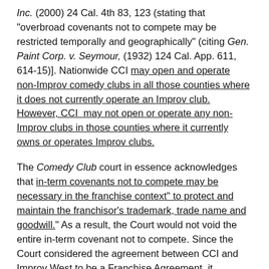Inc. (2000) 24 Cal. 4th 83, 123 (stating that "overbroad covenants not to compete may be restricted temporally and geographically" (citing Gen. Paint Corp. v. Seymour, (1932) 124 Cal. App. 611, 614-15)]. Nationwide CCI may open and operate non-Improv comedy clubs in all those counties where it does not currently operate an Improv club. However, CCI may not open or operate any non-Improv clubs in those counties where it currently owns or operates Improv clubs.
The Comedy Club court in essence acknowledges that in-term covenants not to compete may be necessary in the franchise context" to protect and maintain the franchisor's trademark, trade name and goodwill." As a result, the Court would not void the entire in-term covenant not to compete. Since the Court considered the agreement between CCI and Improv West to be a Franchise Agreement, it weighed CCI's right to operate its business against